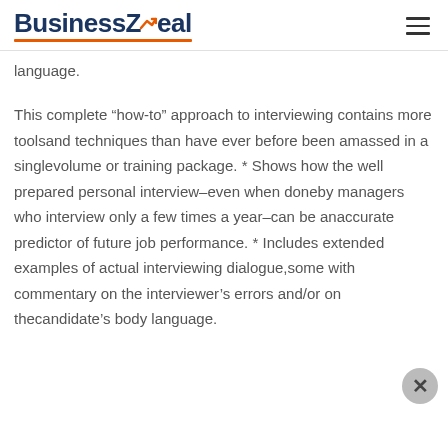BusinessZeal
language.
This complete “how-to” approach to interviewing contains more toolsand techniques than have ever before been amassed in a singlevolume or training package. * Shows how the well prepared personal interview–even when doneby managers who interview only a few times a year–can be anaccurate predictor of future job performance. * Includes extended examples of actual interviewing dialogue,some with commentary on the interviewer’s errors and/or on thecandidate’s body language.